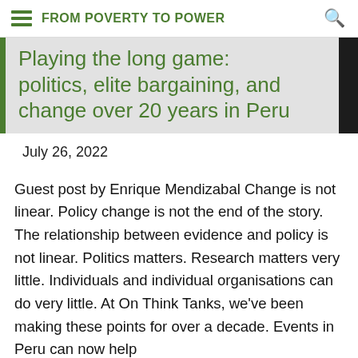FROM POVERTY TO POWER
Playing the long game: politics, elite bargaining, and change over 20 years in Peru
July 26, 2022
Guest post by Enrique Mendizabal Change is not linear. Policy change is not the end of the story.  The relationship between evidence and policy is not linear. Politics matters. Research matters very little. Individuals and individual organisations can do very little. At On Think Tanks, we've been making these points for over a decade. Events in Peru can now help